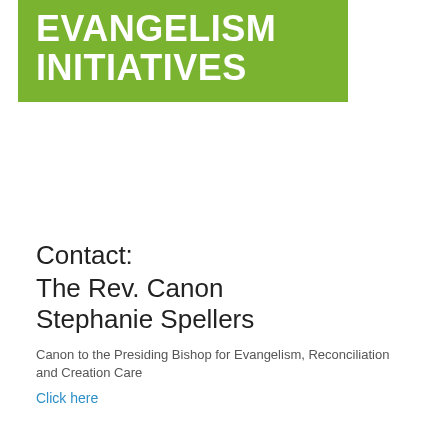EVANGELISM INITIATIVES
Contact:
The Rev. Canon
Stephanie Spellers
Canon to the Presiding Bishop for Evangelism, Reconciliation and Creation Care
Click here